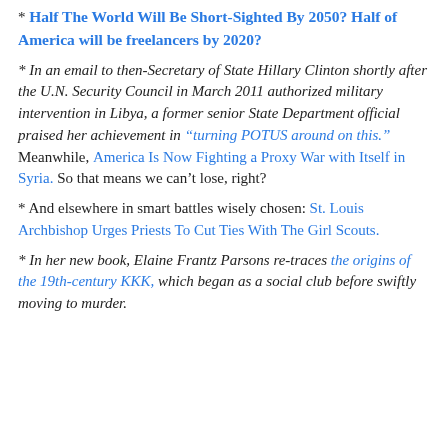* Half The World Will Be Short-Sighted By 2050? Half of America will be freelancers by 2020?
* In an email to then-Secretary of State Hillary Clinton shortly after the U.N. Security Council in March 2011 authorized military intervention in Libya, a former senior State Department official praised her achievement in “turning POTUS around on this.” Meanwhile, America Is Now Fighting a Proxy War with Itself in Syria. So that means we can’t lose, right?
* And elsewhere in smart battles wisely chosen: St. Louis Archbishop Urges Priests To Cut Ties With The Girl Scouts.
* In her new book, Elaine Frantz Parsons re-traces the origins of the 19th-century KKK, which began as a social club before swiftly moving to murder.